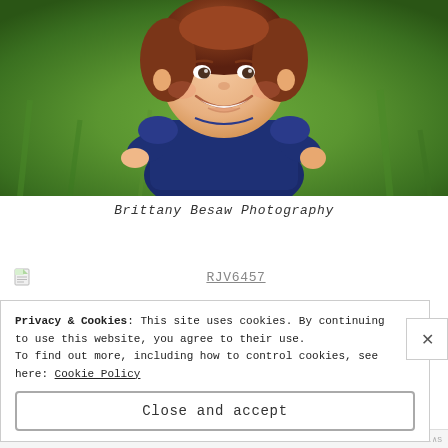[Figure (photo): Smiling toddler girl with curly reddish-brown hair wearing a navy blue dress, sitting outdoors on green grass background.]
Brittany Besaw Photography
[Figure (other): File icon with link text RJV1510]
RJV1510
[Figure (other): File icon with link text RJV6457]
RJV6457
Privacy & Cookies: This site uses cookies. By continuing to use this website, you agree to their use. To find out more, including how to control cookies, see here: Cookie Policy
Close and accept